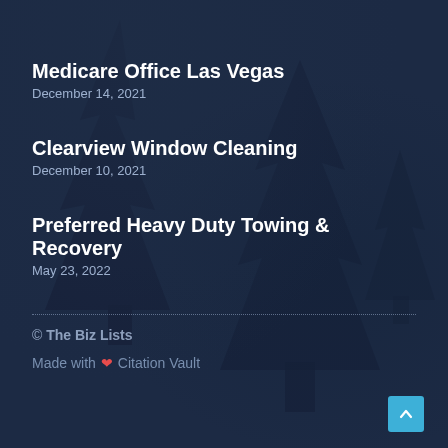Medicare Office Las Vegas
December 14, 2021
Clearview Window Cleaning
December 10, 2021
Preferred Heavy Duty Towing & Recovery
May 23, 2022
© The Biz Lists
Made with ❤ Citation Vault